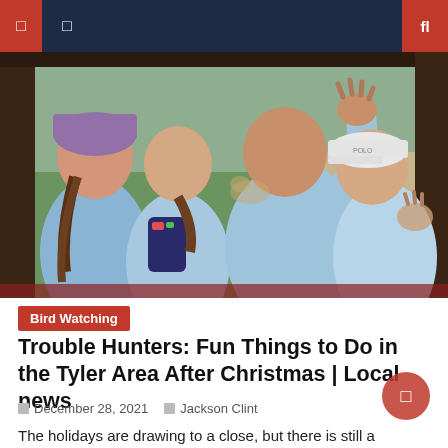Navigation bar with menu icons
[Figure (photo): Four children viewed from behind, wearing light blue shirts, looking through a window at outdoor greenery. One child wears a purple hat, one has a ponytail and dark backpack, one has arm raised, and one wears a white Polo cap.]
Bird Watching
Trouble Hunters: Fun Things to Do in the Tyler Area After Christmas | Local news
December 28, 2021   Jackson Clint
The holidays are drawing to a close, but there is still a lot to do for children and families before school resumes. Here is a sample of outdoor and indoor activities in the Tyler area: Enjoy the outdoors These outdoor spaces are perfect for